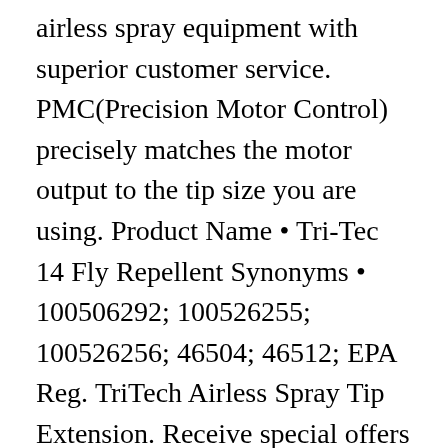airless spray equipment with superior customer service. PMC(Precision Motor Control) precisely matches the motor output to the tip size you are using. Product Name • Tri-Tec 14 Fly Repellent Synonyms • 100506292; 100526255; 100526256; 46504; 46512; EPA Reg. TriTech Airless Spray Tip Extension. Receive special offers and promotions, and 10% off your first online purchase! The deer fly are terrible so be sure to spray well and wipe product on ears and face. TriTech Swivel Connector. Tri-Tec 14 Fly Repellent's unique water-resistant formula contains a special conditioner that binds to the hair shaft so it keeps working even in moist